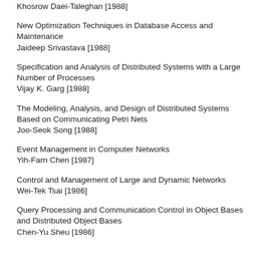Khosrow Daei-Taleghan [1988]
New Optimization Techniques in Database Access and Maintenance
Jaideep Srivastava [1988]
Specification and Analysis of Distributed Systems with a Large Number of Processes
Vijay K. Garg [1988]
The Modeling, Analysis, and Design of Distributed Systems Based on Communicating Petri Nets
Joo-Seok Song [1988]
Event Management in Computer Networks
Yih-Farn Chen [1987]
Control and Management of Large and Dynamic Networks
Wei-Tek Tsai [1986]
Query Processing and Communication Control in Object Bases and Distributed Object Bases
Chen-Yu Sheu [1986]